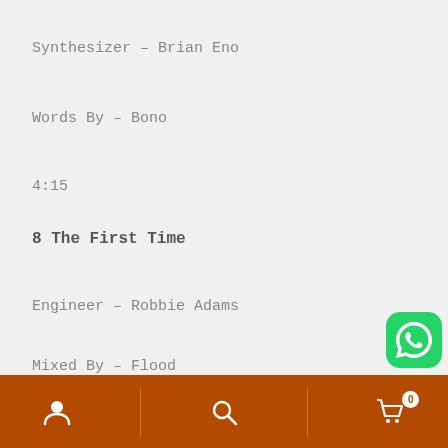Synthesizer – Brian Eno
Words By – Bono
4:15
8 The First Time
Engineer – Robbie Adams
Mixed By – Flood
Mixed By [Assisted By] – Willie Mannion
Piano, Harmonium – Brian Eno
Words By – Bono